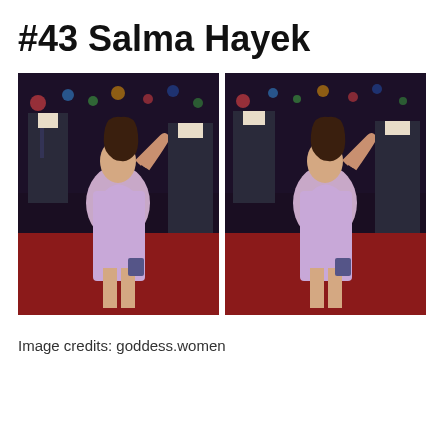#43 Salma Hayek
[Figure (photo): Two side-by-side photos of Salma Hayek wearing a lavender bandage mini dress and holding a small purse, walking on a red carpet at a nighttime event with suited men in the background.]
Image credits: goddess.women